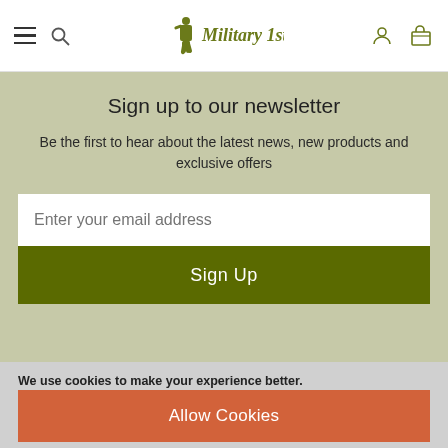Military 1st — navigation header with hamburger menu, search, logo, account and cart icons
Sign up to our newsletter
Be the first to hear about the latest news, new products and exclusive offers
Enter your email address
Sign Up
We use cookies to make your experience better. To comply with the new e-Privacy directive, we need to ask for your consent to set the cookies. Learn more
Allow Cookies